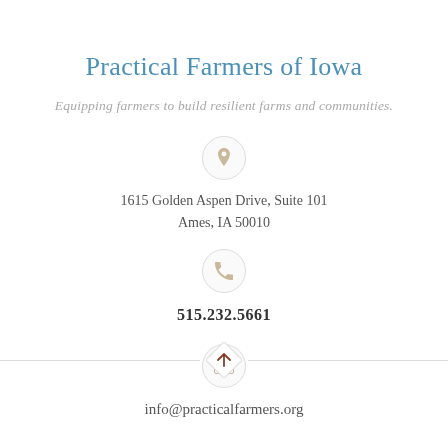Practical Farmers of Iowa
Equipping farmers to build resilient farms and communities.
1615 Golden Aspen Drive, Suite 101
Ames, IA 50010
515.232.5661
info@practicalfarmers.org